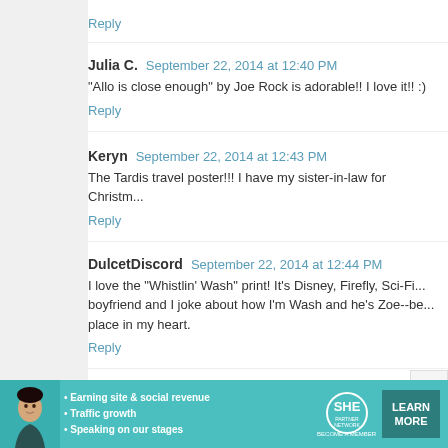Reply
Julia C.  September 22, 2014 at 12:40 PM
"Allo is close enough" by Joe Rock is adorable!! I love it!! :)
Reply
[Figure (photo): Avatar photo of Keryn, a woman with dark hair]
Keryn  September 22, 2014 at 12:43 PM
The Tardis travel poster!!! I have my sister-in-law for Christm...
Reply
[Figure (photo): Avatar image with Zelda-like logo on dark background]
DulcetDiscord  September 22, 2014 at 12:44 PM
I love the "Whistlin' Wash" print! It's Disney, Firefly, Sci-Fi... boyfriend and I joke about how I'm Wash and he's Zoe--be... place in my heart.
Reply
Anonymous  September 22, 2014 at 12:46 PM
[Figure (infographic): SHE Partner Network advertisement banner with woman photo, bullet points about earning site and social revenue, traffic growth, speaking on stages, SHE logo, and LEARN MORE button]